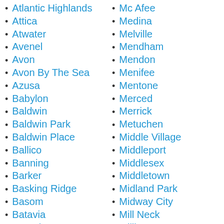Atlantic Highlands
Attica
Atwater
Avenel
Avon
Avon By The Sea
Azusa
Babylon
Baldwin
Baldwin Park
Baldwin Place
Ballico
Banning
Barker
Basking Ridge
Basom
Batavia
Bay Shore
Bayonne
Mc Afee
Medina
Melville
Mendham
Mendon
Menifee
Mentone
Merced
Merrick
Metuchen
Middle Village
Middleport
Middlesex
Middletown
Midland Park
Midway City
Mill Neck
Millburn
Millington